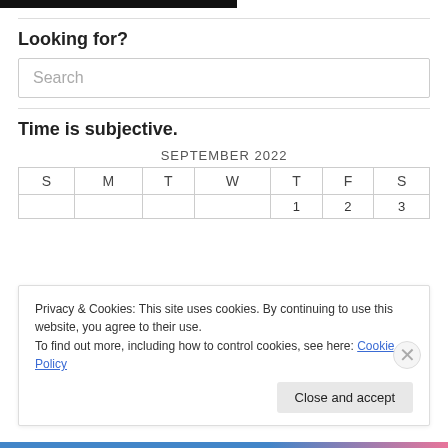[Figure (photo): Black bar at top of page, partial image]
Looking for?
Search
Time is subjective.
| S | M | T | W | T | F | S |
| --- | --- | --- | --- | --- | --- | --- |
|  |  |  |  | 1 | 2 | 3 |
Privacy & Cookies: This site uses cookies. By continuing to use this website, you agree to their use.
To find out more, including how to control cookies, see here: Cookie Policy
Close and accept